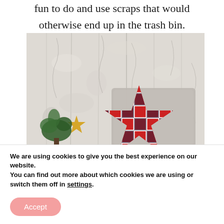fun to do and use scraps that would otherwise end up in the trash bin.
[Figure (photo): A decorative photo showing a gray pillow and a red buffalo plaid star-shaped pillow against a white peeling paint wooden wall background, with green plants and a gold star decoration.]
We are using cookies to give you the best experience on our website.
You can find out more about which cookies we are using or switch them off in settings.
Accept